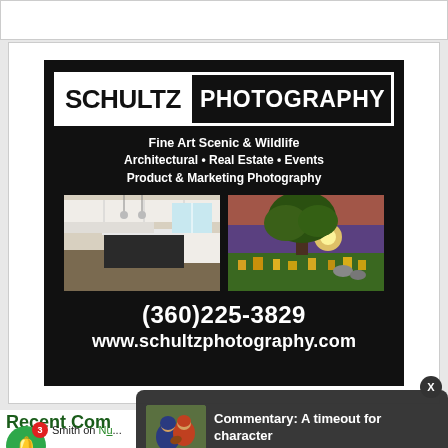[Figure (advertisement): Schultz Photography advertisement on black background. Logo shows 'SCHULTZ PHOTOGRAPHY' in bold white text with border. Taglines: 'Fine Art Scenic & Wildlife', 'Architectural • Real Estate • Events', 'Product & Marketing Photography'. Two photos: kitchen interior and nature/tree scene. Phone: (360)225-3829. Website: www.schultzphotography.com]
Recent Comments
Commentary: A timeout for character
24 hours ago
Smith on N... COVID death